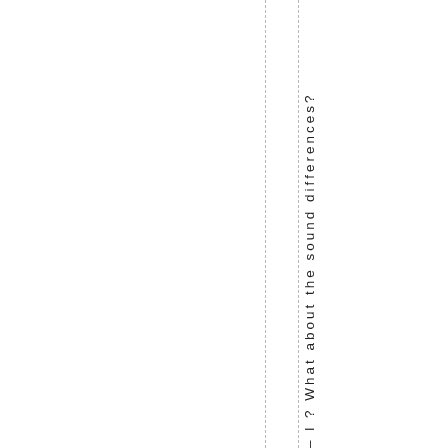– l ? What about the sound differences?